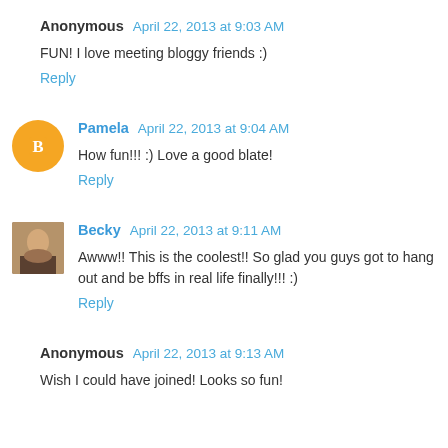Anonymous April 22, 2013 at 9:03 AM
FUN! I love meeting bloggy friends :)
Reply
Pamela April 22, 2013 at 9:04 AM
How fun!!! :) Love a good blate!
Reply
Becky April 22, 2013 at 9:11 AM
Awww!! This is the coolest!! So glad you guys got to hang out and be bffs in real life finally!!! :)
Reply
Anonymous April 22, 2013 at 9:13 AM
Wish I could have joined! Looks so fun!